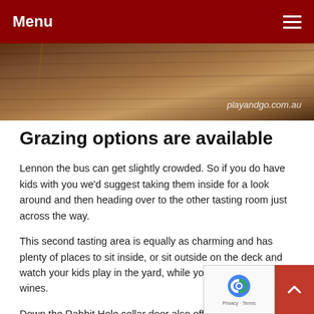Menu
[Figure (photo): Wooden surface banner image with watermark text 'playandgo.com.au']
Grazing options are available
Lennon the bus can get slightly crowded. So if you do have kids with you we'd suggest taking them inside for a look around and then heading over to the other tasting room just across the way.
This second tasting area is equally as charming and has plenty of places to sit inside, or sit outside on the deck and watch your kids play in the yard, while you get to taste your wines.
Down the Rabbit Hole cellar door also offers gluten-free and organic grazing platters, with vegan options. You'll be completely satisfied, whether you're peckish or hungry.